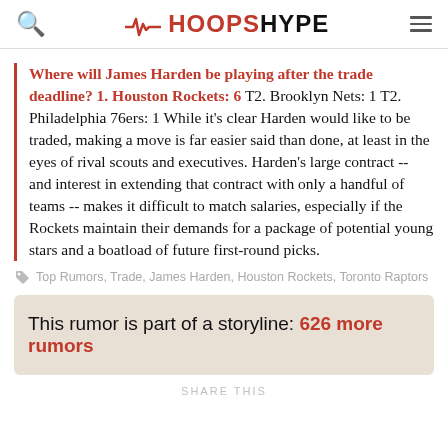HOOPSHYPE
Where will James Harden be playing after the trade deadline? 1. Houston Rockets: 6 T2. Brooklyn Nets: 1 T2. Philadelphia 76ers: 1 While it's clear Harden would like to be traded, making a move is far easier said than done, at least in the eyes of rival scouts and executives. Harden's large contract -- and interest in extending that contract with only a handful of teams -- makes it difficult to match salaries, especially if the Rockets maintain their demands for a package of potential young stars and a boatload of future first-round picks.
Top Rumors, Trade, James Harden, Houston Rockets, Toronto Raptors
This rumor is part of a storyline: 626 more rumors
SHARE THIS